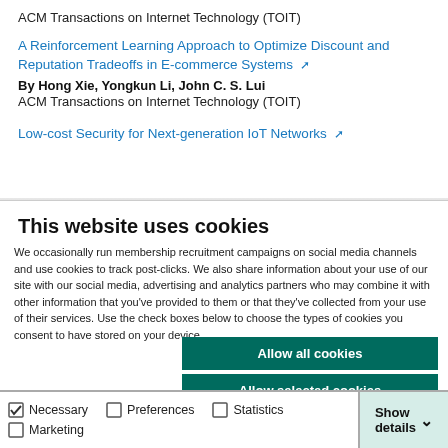ACM Transactions on Internet Technology (TOIT)
A Reinforcement Learning Approach to Optimize Discount and Reputation Tradeoffs in E-commerce Systems ↗
By Hong Xie, Yongkun Li, John C. S. Lui
ACM Transactions on Internet Technology (TOIT)
Low-cost Security for Next-generation IoT Networks ↗
This website uses cookies
We occasionally run membership recruitment campaigns on social media channels and use cookies to track post-clicks. We also share information about your use of our site with our social media, advertising and analytics partners who may combine it with other information that you've provided to them or that they've collected from your use of their services. Use the check boxes below to choose the types of cookies you consent to have stored on your device.
Allow all cookies
Allow selected cookies
Use necessary cookies only
Necessary  Preferences  Statistics  Marketing  Show details